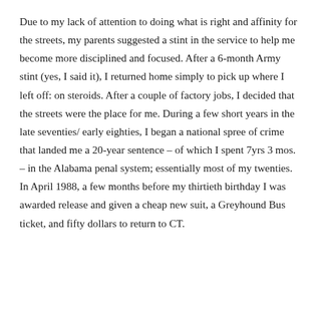Due to my lack of attention to doing what is right and affinity for the streets, my parents suggested a stint in the service to help me become more disciplined and focused. After a 6-month Army stint (yes, I said it), I returned home simply to pick up where I left off: on steroids. After a couple of factory jobs, I decided that the streets were the place for me. During a few short years in the late seventies/ early eighties, I began a national spree of crime that landed me a 20-year sentence – of which I spent 7yrs 3 mos. – in the Alabama penal system; essentially most of my twenties. In April 1988, a few months before my thirtieth birthday I was awarded release and given a cheap new suit, a Greyhound Bus ticket, and fifty dollars to return to CT.